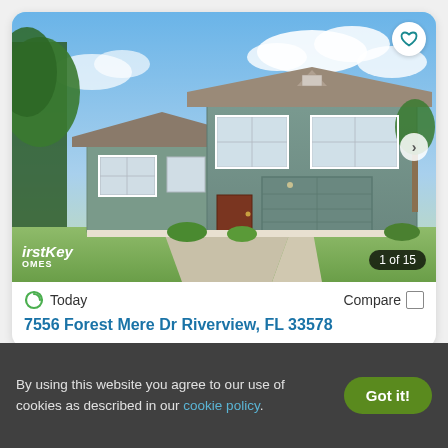[Figure (photo): Exterior photo of a two-story gray/teal house with white trim, double garage, blue sky, trees on sides. FirstKey Homes logo in bottom left, '1 of 15' counter bottom right, heart favorite button top right, arrow navigation right.]
Today
Compare
7556 Forest Mere Dr Riverview, FL 33578
By using this website you agree to our use of cookies as described in our cookie policy.
Got it!